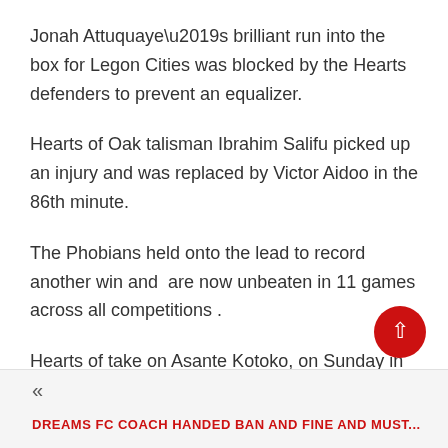Jonah Attuquaye’s brilliant run into the box for Legon Cities was blocked by the Hearts defenders to prevent an equalizer.
Hearts of Oak talisman Ibrahim Salifu picked up an injury and was replaced by Victor Aidoo in the 86th minute.
The Phobians held onto the lead to record another win and  are now unbeaten in 11 games across all competitions .
Hearts of take on Asante Kotoko, on Sunday in what many people think is a title deciding clash.
« DREAMS FC COACH HANDED BAN AND FINE AND MUST...